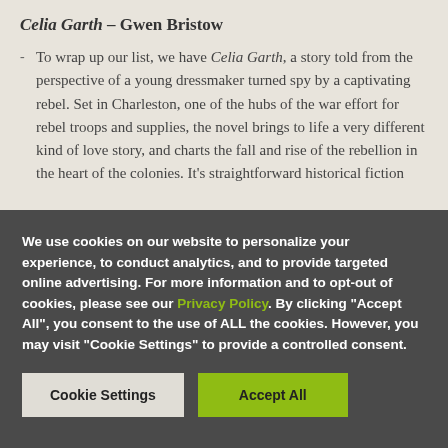Celia Garth – Gwen Bristow
To wrap up our list, we have Celia Garth, a story told from the perspective of a young dressmaker turned spy by a captivating rebel. Set in Charleston, one of the hubs of the war effort for rebel troops and supplies, the novel brings to life a very different kind of love story, and charts the fall and rise of the rebellion in the heart of the colonies. It's straightforward historical fiction
We use cookies on our website to personalize your experience, to conduct analytics, and to provide targeted online advertising. For more information and to opt-out of cookies, please see our Privacy Policy. By clicking "Accept All", you consent to the use of ALL the cookies. However, you may visit "Cookie Settings" to provide a controlled consent.